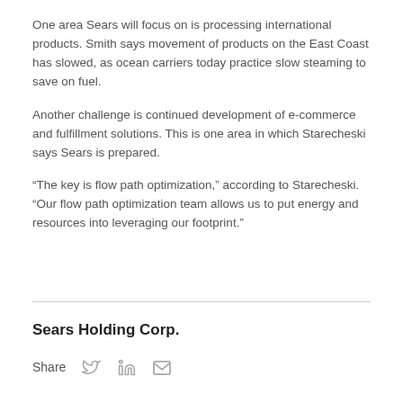One area Sears will focus on is processing international products. Smith says movement of products on the East Coast has slowed, as ocean carriers today practice slow steaming to save on fuel.
Another challenge is continued development of e-commerce and fulfillment solutions. This is one area in which Starecheski says Sears is prepared.
“The key is flow path optimization,” according to Starecheski. “Our flow path optimization team allows us to put energy and resources into leveraging our footprint.”
Sears Holding Corp.
Share